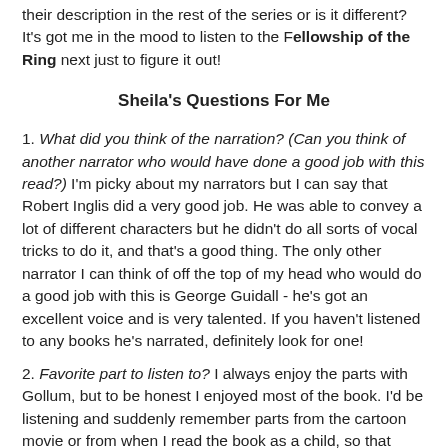their description in the rest of the series or is it different?  It's got me in the mood to listen to the Fellowship of the Ring next just to figure it out!
Sheila's Questions For Me
1. What did you think of the narration? (Can you think of another narrator who would have done a good job with this read?)  I'm picky about my narrators but I can say that Robert Inglis did a very good job.  He was able to convey a lot of different characters but he didn't do all sorts of vocal tricks to do it, and that's a good thing.  The only other narrator I can think of off the top of my head who would do a good job with this is George Guidall - he's got an excellent voice and is very talented. If you haven't listened to any books he's narrated, definitely look for one!
2. Favorite part to listen to? I always enjoy the parts with Gollum, but to be honest I enjoyed most of the book. I'd be listening and suddenly remember parts from the cartoon movie or from when I read the book as a child, so that made